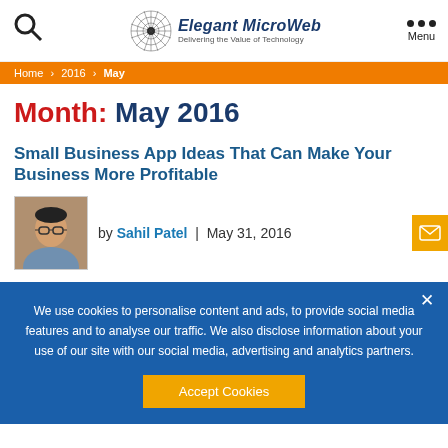Elegant MicroWeb – Delivering the Value of Technology
Home > 2016 > May
Month: May 2016
Small Business App Ideas That Can Make Your Business More Profitable
by Sahil Patel | May 31, 2016
We use cookies to personalise content and ads, to provide social media features and to analyse our traffic. We also disclose information about your use of our site with our social media, advertising and analytics partners.
Accept Cookies